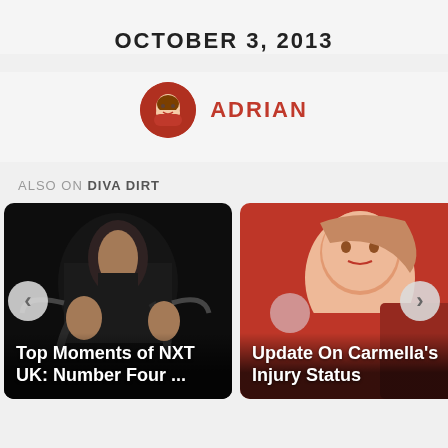OCTOBER 3, 2013
ADRIAN
ALSO ON DIVA DIRT
[Figure (photo): NXT UK women's wrestling match with dark-haired wrestler in ring with others]
Top Moments of NXT UK: Number Four ...
[Figure (photo): Carmella WWE Diva in red outfit smiling]
Update On Carmella's Injury Status